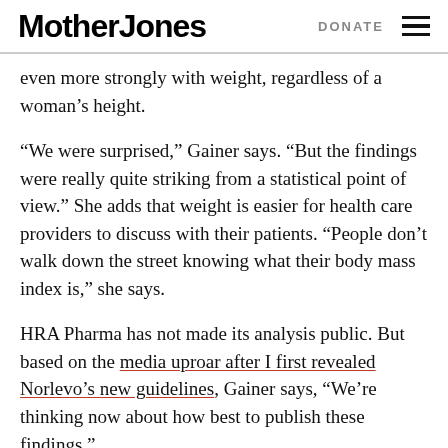Mother Jones | DONATE
even more strongly with weight, regardless of a woman's height.
“We were surprised,” Gainer says. “But the findings were really quite striking from a statistical point of view.” She adds that weight is easier for health care providers to discuss with their patients. “People don’t walk down the street knowing what their body mass index is,” she says.
HRA Pharma has not made its analysis public. But based on the media uproar after I first revealed Norlevo’s new guidelines, Gainer says, “We’re thinking now about how best to publish these findings.”